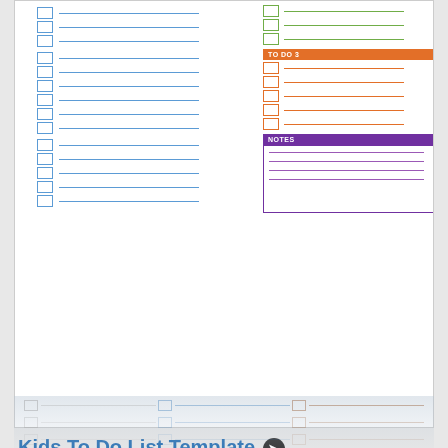[Figure (illustration): Top portion of a colorful to-do list template showing blue checkbox rows on left, green checkbox rows top-right, orange 'TO DO 3' section with orange checkboxes and lines, and purple 'NOTES' section with lined writing area.]
Kids To Do List Template ❯
87 KB  /  3838 DOWNLOADS
[Figure (illustration): Preview of a Weekly To Do List template showing WEEKLY TO DO LIST title, Name bar in olive green, day headers Monday (olive), Tuesday (blue), Wednesday (dark red/maroon), and five rows of checkboxes with lines under each day column.]